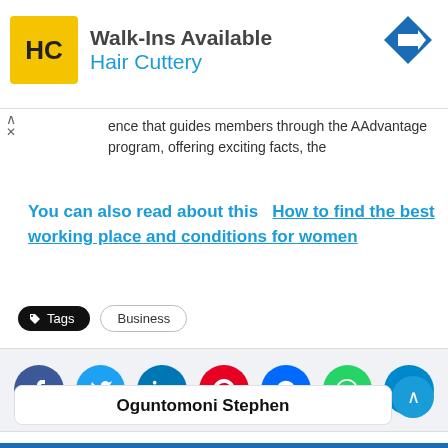[Figure (other): Hair Cuttery advertisement banner with yellow logo, text 'Walk-Ins Available' and 'Hair Cuttery', and a blue navigation arrow icon]
ence that guides members through the AAdvantage program, offering exciting facts, the
You can also read about this  How to find the best working place and conditions for women
Tags  Business
[Figure (other): Social sharing buttons row: Facebook, Twitter, LinkedIn, Pinterest, Messenger, WhatsApp, Telegram]
Oguntomoni Stephen